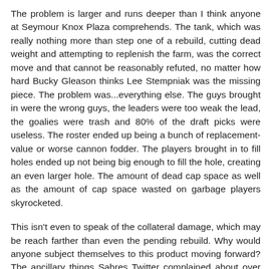The problem is larger and runs deeper than I think anyone at Seymour Knox Plaza comprehends. The tank, which was really nothing more than step one of a rebuild, cutting dead weight and attempting to replenish the farm, was the correct move and that cannot be reasonably refuted, no matter how hard Bucky Gleason thinks Lee Stempniak was the missing piece. The problem was...everything else. The guys brought in were the wrong guys, the leaders were too weak the lead, the goalies were trash and 80% of the draft picks were useless. The roster ended up being a bunch of replacement-value or worse cannon fodder. The players brought in to fill holes ended up not being big enough to fill the hole, creating an even larger hole. The amount of dead cap space as well as the amount of cap space wasted on garbage players skyrocketed.
This isn't even to speak of the collateral damage, which may be reach farther than even the pending rebuild. Why would anyone subject themselves to this product moving forward? The ancillary things Sabres Twitter complained about over the years are largely still there except now the product on the ice is even shittier. I'm willing to